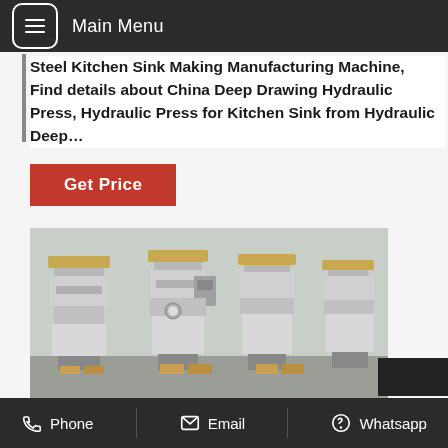Main Menu
Steel Kitchen Sink Making Manufacturing Machine, Find details about China Deep Drawing Hydraulic Press, Hydraulic Press for Kitchen Sink from Hydraulic Deep…
Get Price
[Figure (photo): Several stainless steel hydraulic oil press machines lined up in a factory or warehouse setting]
Phone   Email   Whatsapp